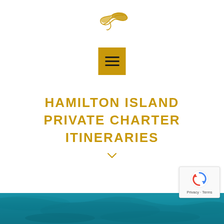[Figure (logo): Gold stylized bird/dove logo mark for a charter company]
[Figure (other): Golden/amber square button with hamburger menu icon (three horizontal lines)]
HAMILTON ISLAND PRIVATE CHARTER ITINERARIES
[Figure (other): Small downward chevron arrow in gold]
[Figure (photo): Aerial view of teal/turquoise ocean water strip at the bottom of the page]
[Figure (other): reCAPTCHA privacy badge in bottom right corner showing Google reCAPTCHA logo with Privacy and Terms text]